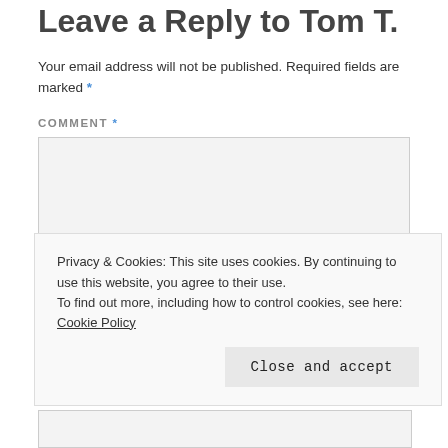Leave a Reply to Tom T.
Your email address will not be published. Required fields are marked *
COMMENT *
[Figure (other): Empty comment textarea input field with light gray background]
Privacy & Cookies: This site uses cookies. By continuing to use this website, you agree to their use.
To find out more, including how to control cookies, see here: Cookie Policy
Close and accept